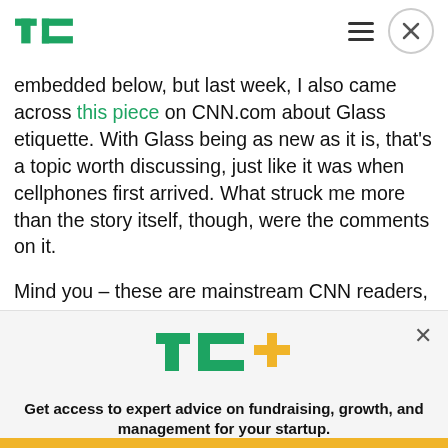TechCrunch logo, hamburger menu, close button
embedded below, but last week, I also came across this piece on CNN.com about Glass etiquette. With Glass being as new as it is, that's a topic worth discussing, just like it was when cellphones first arrived. What struck me more than the story itself, though, were the comments on it.
Mind you – these are mainstream CNN readers, not
[Figure (logo): TechCrunch TC+ logo in green with orange plus sign]
Get access to expert advice on fundraising, growth, and management for your startup.
EXPLORE NOW